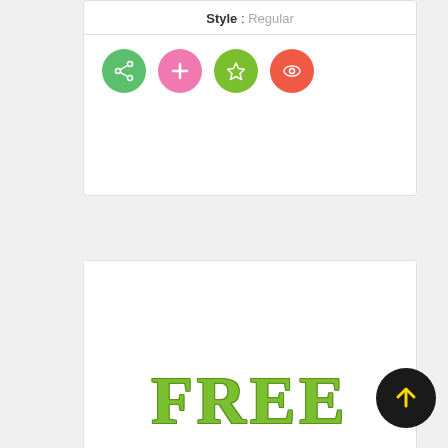Style : Regular
[Figure (infographic): Four circular icon buttons: green share icon, pink plus icon, green star icon, red/orange eye icon]
[Figure (illustration): Font preview card showing 'FREE' text in large green serif slab font (CA Coronado W00 Regular)]
CA Coronado W00 Regular
Style : Regular
[Figure (infographic): Four circular icon buttons: green share icon, pink plus icon, green star icon, red/orange eye icon]
[Figure (infographic): Black circle with yellow upward arrow (back to top button)]